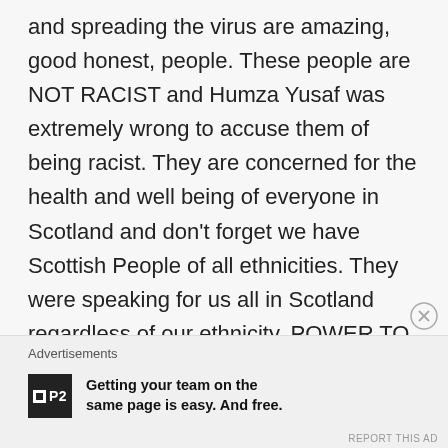and spreading the virus are amazing, good honest, people. These people are NOT RACIST and Humza Yusaf was extremely wrong to accuse them of being racist. They are concerned for the health and well being of everyone in Scotland and don't forget we have Scottish People of all ethnicities. They were speaking for us all in Scotland regardless of our ethnicity. POWER TO THEM.
Advertisements
Getting your team on the same page is easy. And free.